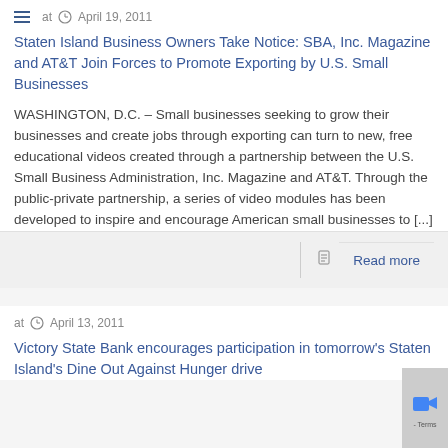at  April 19, 2011
Staten Island Business Owners Take Notice: SBA, Inc. Magazine and AT&T Join Forces to Promote Exporting by U.S. Small Businesses
WASHINGTON, D.C. – Small businesses seeking to grow their businesses and create jobs through exporting can turn to new, free educational videos created through a partnership between the U.S. Small Business Administration, Inc. Magazine and AT&T. Through the public-private partnership, a series of video modules has been developed to inspire and encourage American small businesses to [...]
Read more
at  April 13, 2011
Victory State Bank encourages participation in tomorrow's Staten Island's Dine Out Against Hunger drive